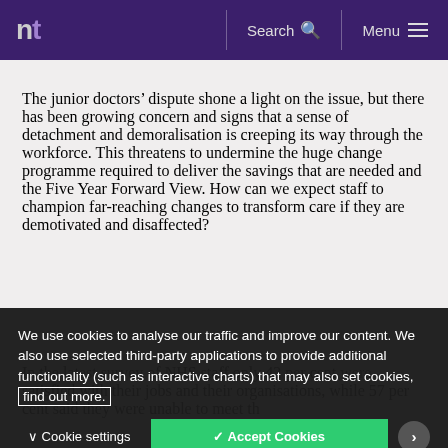nt  Search  Menu
The junior doctors’ dispute shone a light on the issue, but there has been growing concern and signs that a sense of detachment and demoralisation is creeping its way through the workforce. This threatens to undermine the huge change programme required to deliver the savings that are needed and the Five Year Forward View. How can we expect staff to champion far-reaching changes to transform care if they are demotivated and disaffected?
In the latest survey of NHS staff only 42 per cent were satisfied with their jobs and their organisations, while 57 per cent said they were unable to meet the standards they aim for in their work, which represents
We use cookies to analyse our traffic and improve our content. We also use selected third-party applications to provide additional functionality (such as interactive charts) that may also set cookies, find out more., while 57 per cent said they were unable to meet th